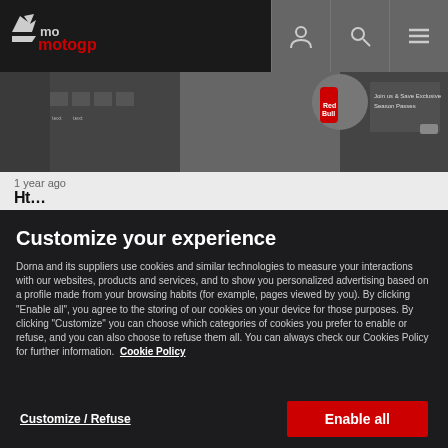MotoGP website header with logo and navigation icons
[Figure (screenshot): MotoGP website banner showing a racing rider with Red Bull branding and promotional text]
1 year ago
Ht... (partial article title cut off by overlay)
Customize your experience
Dorna and its suppliers use cookies and similar technologies to measure your interactions with our websites, products and services, and to show you personalized advertising based on a profile made from your browsing habits (for example, pages viewed by you). By clicking "Enable all", you agree to the storing of our cookies on your device for those purposes. By clicking "Customize" you can choose which categories of cookies you prefer to enable or refuse, and you can also choose to refuse them all. You can always check our Cookies Policy for further information. Cookie Policy
Customize / Refuse
Enable all